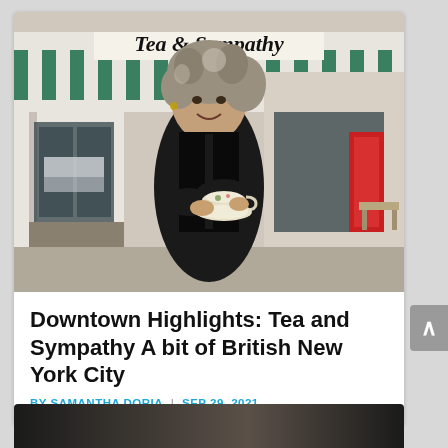[Figure (photo): Woman with curly gray-brown hair standing in front of Tea & Sympathy shop with green and white striped awning, holding a teacup and saucer, smiling at camera]
Downtown Highlights: Tea and Sympathy A bit of British New York City
BY SAMANTHA DORIA | SEP 29, 2021
[Figure (photo): Partial view of another image at the bottom of the page, mostly dark]